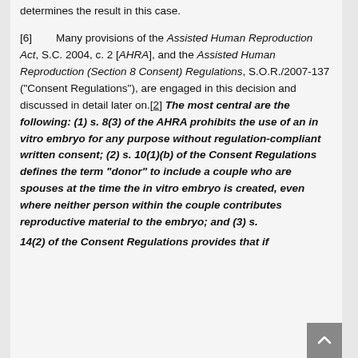determines the result in this case.
[6]        Many provisions of the Assisted Human Reproduction Act, S.C. 2004, c. 2 [AHRA], and the Assisted Human Reproduction (Section 8 Consent) Regulations, S.O.R./2007-137 ("Consent Regulations"), are engaged in this decision and discussed in detail later on.[2] The most central are the following: (1) s. 8(3) of the AHRA prohibits the use of an in vitro embryo for any purpose without regulation-compliant written consent; (2) s. 10(1)(b) of the Consent Regulations defines the term “donor” to include a couple who are spouses at the time the in vitro embryo is created, even where neither person within the couple contributes reproductive material to the embryo; and (3) s. 14(2) of the Consent Regulations provides that if